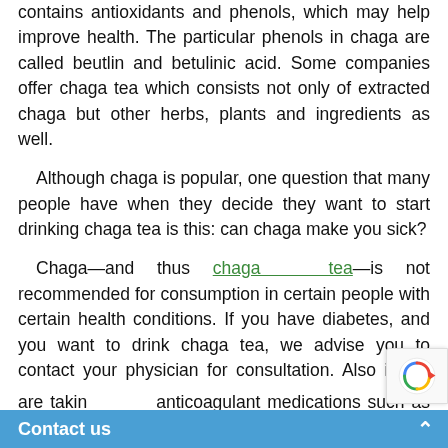contains antioxidants and phenols, which may help improve health. The particular phenols in chaga are called beutlin and betulinic acid. Some companies offer chaga tea which consists not only of extracted chaga but other herbs, plants and ingredients as well.
Although chaga is popular, one question that many people have when they decide they want to start drinking chaga tea is this: can chaga make you sick?
Chaga—and thus chaga tea—is not recommended for consumption in certain people with certain health conditions. If you have diabetes, and you want to drink chaga tea, we advise you to contact your physician for consultation. Also if you are taking anticoagulant medications such as a... chaga tea is...